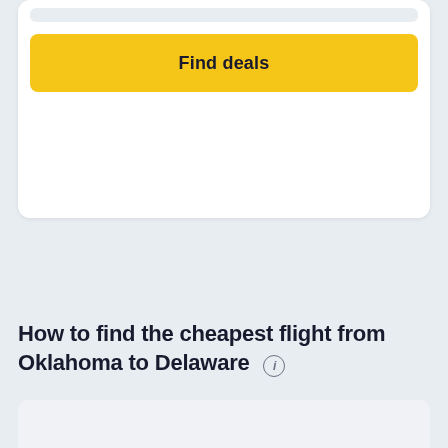[Figure (other): Yellow 'Find deals' button inside a white card at the top of the page]
How to find the cheapest flight from Oklahoma to Delaware ℹ